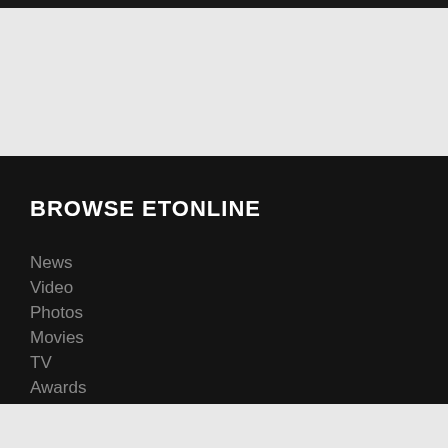BROWSE ETONLINE
News
Video
Photos
Movies
TV
Awards
Music